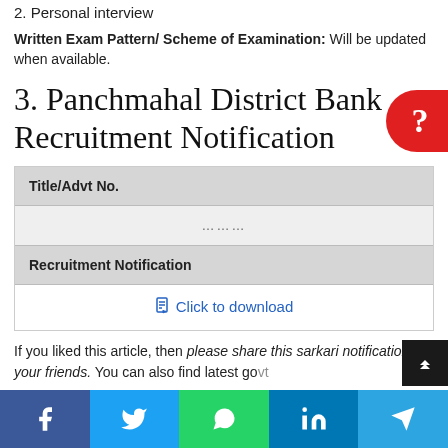2. Personal interview
Written Exam Pattern/ Scheme of Examination: Will be updated when available.
3. Panchmahal District Bank Recruitment Notification
| Title/Advt No. |  |
| --- | --- |
| ……… |  |
| Recruitment Notification | Click to download |
If you liked this article, then please share this sarkari notification to your friends. You can also find latest govt